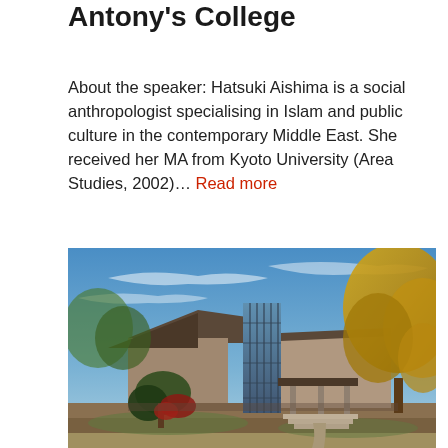Antony's College
About the speaker: Hatsuki Aishima is a social anthropologist specialising in Islam and public culture in the contemporary Middle East. She received her MA from Kyoto University (Area Studies, 2002)... Read more
[Figure (photo): Exterior photograph of a modern academic building with large glass windows and stepped entrance, surrounded by autumn trees with yellow and orange foliage against a blue sky]